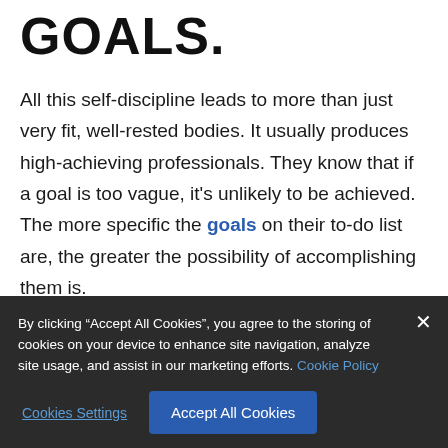GOALS.
All this self-discipline leads to more than just very fit, well-rested bodies. It usually produces high-achieving professionals. They know that if a goal is too vague, it’s unlikely to be achieved. The more specific the goals on their to-do list are, the greater the possibility of accomplishing them is.
By clicking “Accept All Cookies”, you agree to the storing of cookies on your device to enhance site navigation, analyze site usage, and assist in our marketing efforts. Cookie Policy
Cookies Settings
Accept All Cookies